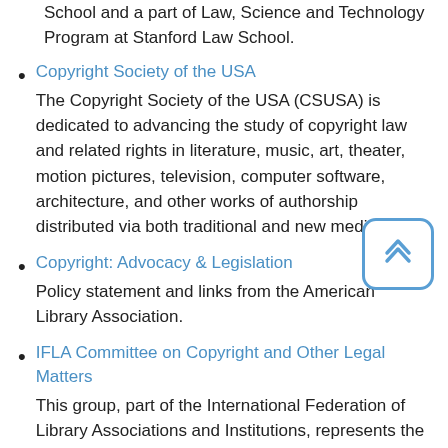technology law and policy program at Stanford Law School and a part of Law, Science and Technology Program at Stanford Law School.
Copyright Society of the USA
The Copyright Society of the USA (CSUSA) is dedicated to advancing the study of copyright law and related rights in literature, music, art, theater, motion pictures, television, computer software, architecture, and other works of authorship distributed via both traditional and new media.
Copyright: Advocacy & Legislation
Policy statement and links from the American Library Association.
IFLA Committee on Copyright and Other Legal Matters
This group, part of the International Federation of Library Associations and Institutions, represents the voice of the international library community in copyright and intellectual property concerns.